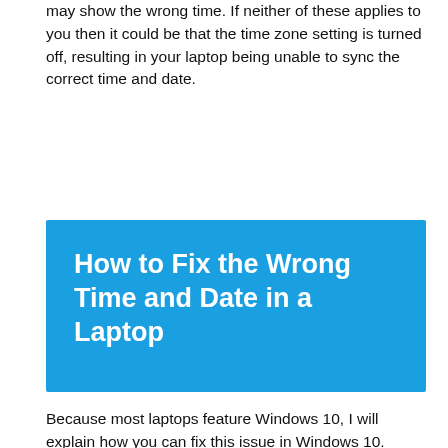may show the wrong time. If neither of these applies to you then it could be that the time zone setting is turned off, resulting in your laptop being unable to sync the correct time and date.
[Figure (other): Blue banner with title text 'How to Fix the Wrong Time and Date in a Laptop' in white bold font on blue background]
Because most laptops feature Windows 10, I will explain how you can fix this issue in Windows 10.
Step 1: In the task bar ribbon, locate the clock icon—Right-click on it. You will see a list of various options, including